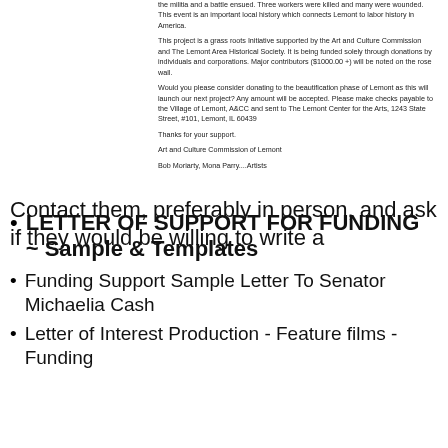the militia and a battle ensued. Three workers were killed and many were wounded. This event is an important local history which connects Lemont to labor history in America.
This project is a grass roots Initiative supported by the Art and Culture Commission and The Lemont Area Historical Society. It is being funded solely through donations by individuals and corporations. Major contributors ($1000.00 +) will be noted on the rose wall.
Would you please consider donating to the beautification phase of Lemont as this will launch our next project? Any amount will be accepted. Please make checks payable to the Village of Lemont, A&CC and sent to The Lemont Center for the Arts, 1243 State Street, #101, Lemont, IL 60439
Thanks for your support.
Art and Culture Commission of Lemont
Bob Moriarty, Mona Parry....Artists
LETTER OF SUPPORT FOR FUNDING ~ Sample & Templates
Funding Support Sample Letter To Senator Michaelia Cash
Letter of Interest Production - Feature films - Funding
Contact them, preferably in person, and ask if they would be willing to write a